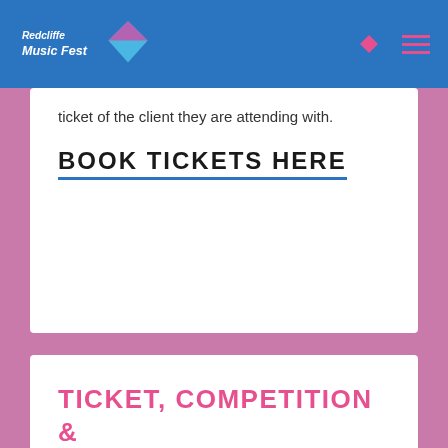Redcliffe Music Festival - Navigation Bar
ticket of the client they are attending with.
BOOK TICKETS HERE
TICKET, COMPETITION & EVENT T&C'S CAN ALL BE FOUND HERE!